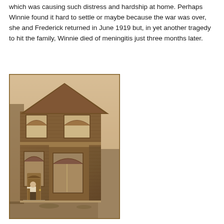which was causing such distress and hardship at home. Perhaps Winnie found it hard to settle or maybe because the war was over, she and Frederick returned in June 1919 but, in yet another tragedy to hit the family, Winnie died of meningitis just three months later.
[Figure (photo): Sepia-toned historical photograph of a two-storey Victorian brick house with a pointed gable roof. The building has arched windows on both floors. A person is standing at the front door steps. The image has the aged look of an early 20th century photograph.]